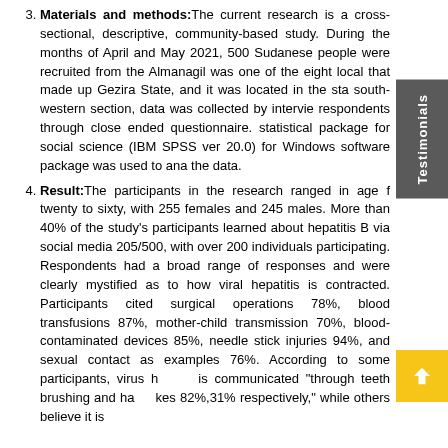Materials and methods: The current research is a cross-sectional, descriptive, community-based study. During the months of April and May 2021, 500 Sudanese people were recruited from the Almanagil was one of the eight local that made up Gezira State, and it was located in the state south-western section, data was collected by interviewing respondents through close ended questionnaire. The statistical package for social science (IBM SPSS ver. 20.0) for Windows software package was used to analyze the data.
Result: The participants in the research ranged in age from twenty to sixty, with 255 females and 245 males. More than 40% of the study's participants learned about hepatitis B via social media 205/500, with over 200 individuals participating. Respondents had a broad range of responses and were clearly mystified as to how viral hepatitis is contracted. Participants cited surgical operations 78%, blood transfusions 87%, mother-child transmission 70%, blood-contaminated devices 85%, needle stick injuries 94%, and sexual contact as examples 76%. According to some participants, virus hepatitis is communicated "through teeth brushing and handshakes 82%,31% respectively," while others believe it is